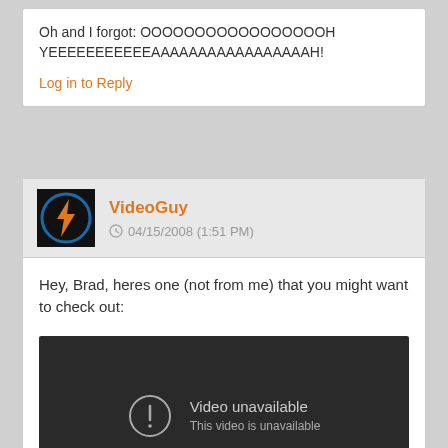Oh and I forgot: OOOOOOOOOOOOOOOOOH YEEEEEEEEEEEAAAAAAAAAAAAAAAAAH!
Log in to Reply
VideoGuy
04/15/2008 (1:51 PM)
Hey, Brad, heres one (not from me) that you might want to check out:
[Figure (screenshot): Embedded video player showing 'Video unavailable - This video is unavailable' error message on dark background]